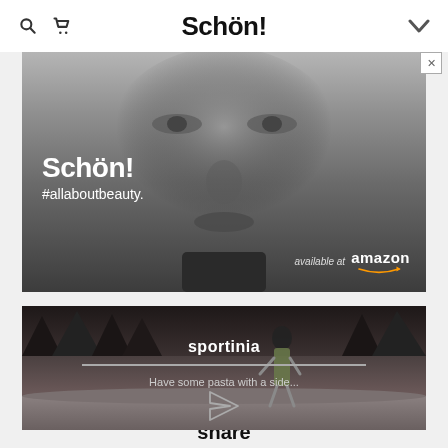Schön! [navigation bar with search, cart, logo, and chevron icons]
[Figure (photo): Schön! magazine advertisement showing close-up black and white face photograph with text overlay 'Schön! #allaboutbeauty.' and 'available at amazon' in bottom right corner. Close button (X) in top-right corner.]
[Figure (photo): Sportinia advertisement showing a figure in a winter snowy forest scene with text 'sportinia', a horizontal line, and 'Have some pasta with a side...' with a paper plane send icon.]
share